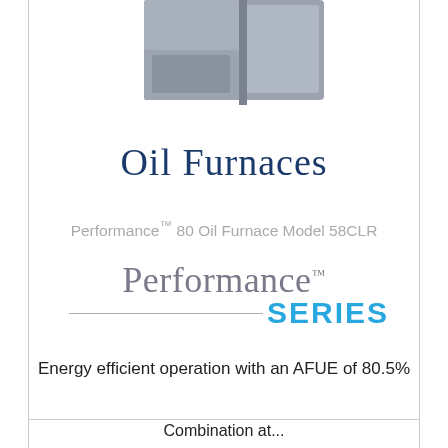[Figure (photo): Product photo of an oil furnace unit, gray metal box shape, partially cropped at top of page]
Oil Furnaces
Performance™ 80 Oil Furnace Model 58CLR
[Figure (logo): Performance Series logo: 'Performance' in gray serif font with a horizontal line and 'SERIES' in bold blue caps]
Energy efficient operation with an AFUE of 80.5%
Combination at...